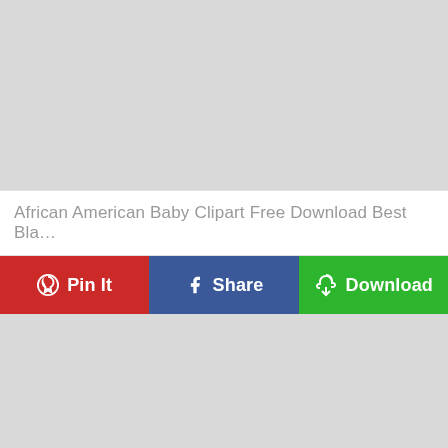[Figure (other): Gray placeholder image block at the top of the page]
African American Baby Clipart Free Download Best Bla…
Pin It | Share | Download
[Figure (other): Gray placeholder image block at the bottom of the page]